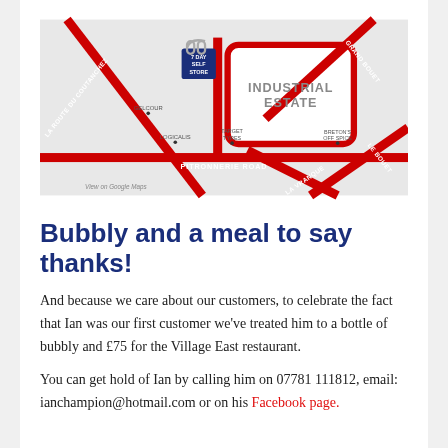[Figure (map): A location map showing 7 Day Self Store on Pitronnerie Road near an Industrial Estate in Guernsey, with roads including La Route du Coutanchez, Grand Bouet, La Vranque, and Le Bouet marked in red.]
Bubbly and a meal to say thanks!
And because we care about our customers, to celebrate the fact that Ian was our first customer we've treated him to a bottle of bubbly and £75 for the Village East restaurant.
You can get hold of Ian by calling him on 07781 111812, email: ianchampion@hotmail.com or on his Facebook page.